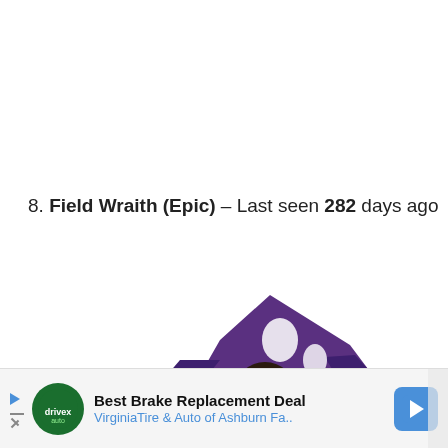8. Field Wraith (Epic) – Last seen 282 days ago
[Figure (illustration): A Fortnite character skin called Field Wraith (Epic) — a scarecrow-themed character wearing a tattered purple hat with bat-wing shapes, decorated with a sunflower, and holding weapons, shown in a dynamic pose against a white background.]
Best Brake Replacement Deal
VirginiaTire & Auto of Ashburn Fa..